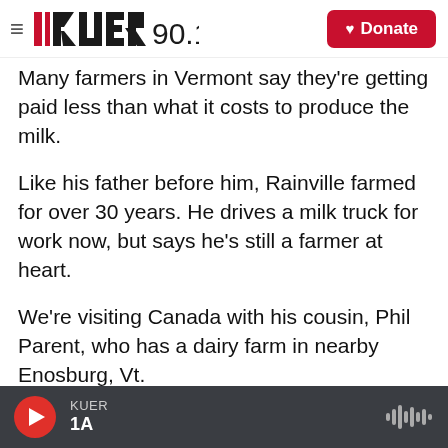KUER 90.1
Many farmers in Vermont say they're getting paid less than what it costs to produce the milk.
Like his father before him, Rainville farmed for over 30 years. He drives a milk truck for work now, but says he's still a farmer at heart.
We're visiting Canada with his cousin, Phil Parent, who has a dairy farm in nearby Enosburg, Vt.
As we approach the border with Quebec, Rainville says he thinks the Canadian system
KUER 1A